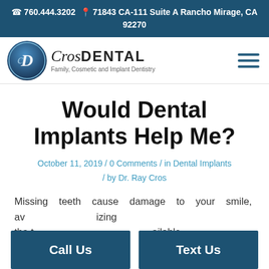📞 760.444.3202  📍 71843 CA-111 Suite A Rancho Mirage, CA 92270
[Figure (logo): CrosDental logo — circular emblem with stylized CD initials in blue, next to the text 'CrosDental Family, Cosmetic and Implant Dentistry']
Would Dental Implants Help Me?
October 11, 2019 / 0 Comments / in Dental Implants / by Dr. Ray Cros
Missing teeth cause damage to your smile, av... izing tha t... ailable